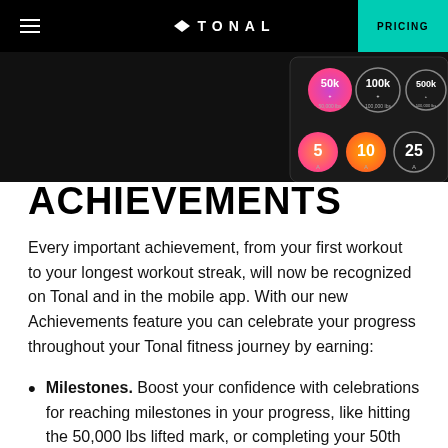TONAL | PRICING
[Figure (screenshot): Tonal app achievements screen showing milestone badges: 50k, 100k, 500k lbs lifted and 5, 10, 25 workout badges on a dark background]
ACHIEVEMENTS
Every important achievement, from your first workout to your longest workout streak, will now be recognized on Tonal and in the mobile app. With our new Achievements feature you can celebrate your progress throughout your Tonal fitness journey by earning:
Milestones. Boost your confidence with celebrations for reaching milestones in your progress, like hitting the 50,000 lbs lifted mark, or completing your 50th